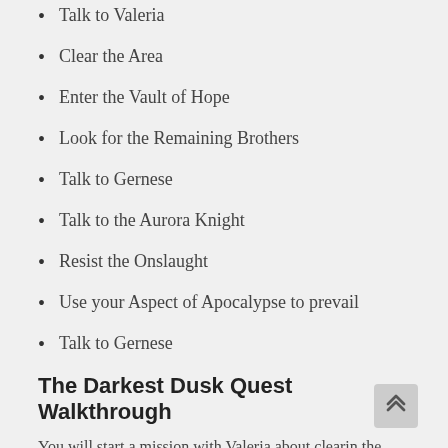Talk to Valeria
Clear the Area
Enter the Vault of Hope
Look for the Remaining Brothers
Talk to Gernese
Talk to the Aurora Knight
Resist the Onslaught
Use your Aspect of Apocalypse to prevail
Talk to Gernese
The Darkest Dusk Quest Walkthrough
You will start a mission with Valeria about clearin the area. Then you will go to Vault of Hope to get the Reaminig Brothers out and Valeria will stay out to protect from flooding Vault. You will talk with Gernese and he will order